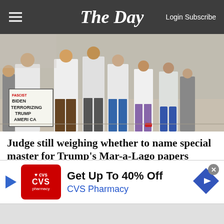The Day — Login Subscribe
[Figure (photo): Protest scene with people holding signs including one reading 'BIDEN TERRORIZING TRUMP AMERICA', demonstrators in white t-shirts in an indoor/outdoor space]
Judge still weighing whether to name special master for Trump's Mar-a-Lago papers
WEST PALM BEACH, Fla. - A federal judge seemed sympathetic to arguments presented by Donald Trump's attorneys in a courtroom Thursday that the former president may retain some executive
[Figure (infographic): CVS Pharmacy advertisement banner: Get Up To 40% Off — CVS Pharmacy, with CVS logo, play button, and navigation diamond icon, and close button]